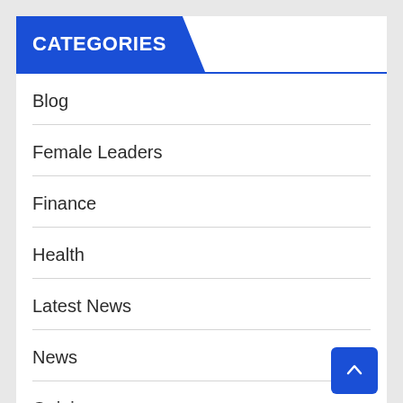CATEGORIES
Blog
Female Leaders
Finance
Health
Latest News
News
Opinion